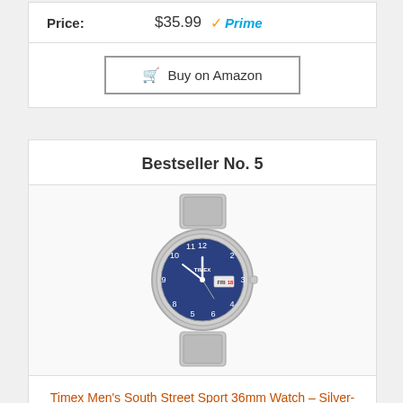| Price: | $35.99  ✓Prime |
|  | Buy on Amazon |
Bestseller No. 5
[Figure (photo): Timex men's silver-tone stainless steel watch with blue dial showing day/date window, silver hands and case, on a metal bracelet band.]
Timex Men's South Street Sport 36mm Watch – Silver-Tone Case Blue Dial with Silver-Tone Stainless...